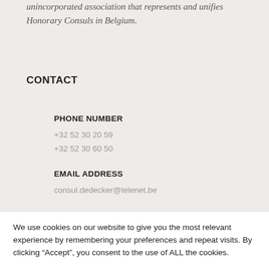unincorporated association that represents and unifies Honorary Consuls in Belgium.
CONTACT
PHONE NUMBER
+32 52 30 20 59
+32 52 30 60 50
EMAIL ADDRESS
consul.dedecker@telenet.be
OUR OFFICE
Waterkasteelstraat 11 B 1040...
We use cookies on our website to give you the most relevant experience by remembering your preferences and repeat visits. By clicking “Accept”, you consent to the use of ALL the cookies.